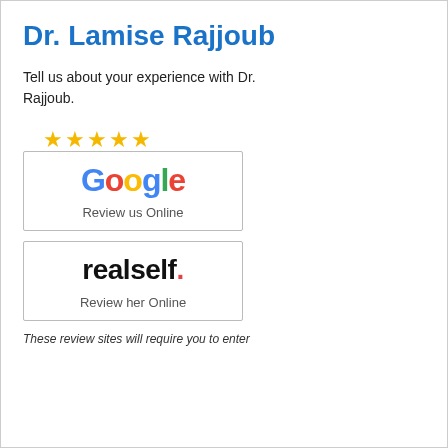Dr. Lamise Rajjoub
Tell us about your experience with Dr. Rajjoub.
[Figure (logo): Five gold stars above a box containing the Google logo and text 'Review us Online']
[Figure (logo): Box containing the RealSelf logo and text 'Review her Online']
These review sites will require you to enter